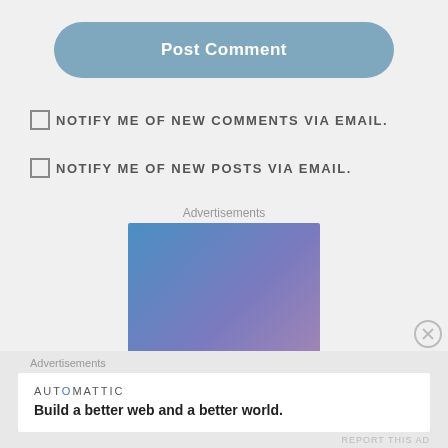Post Comment
NOTIFY ME OF NEW COMMENTS VIA EMAIL.
NOTIFY ME OF NEW POSTS VIA EMAIL.
Advertisements
[Figure (illustration): Blue to purple gradient advertisement image with white serif italic text reading 'Simplified' at the bottom]
[Figure (logo): Close/dismiss circle X button]
Advertisements
AUTOMATTIC - Build a better web and a better world.
REPORT THIS AD